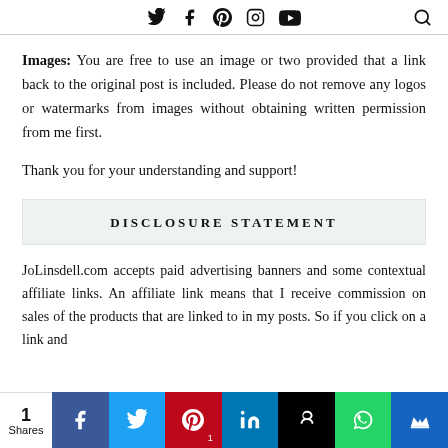Social media icons: Twitter, Facebook, Pinterest, Instagram, YouTube, Search
Images: You are free to use an image or two provided that a link back to the original post is included. Please do not remove any logos or watermarks from images without obtaining written permission from me first.
Thank you for your understanding and support!
DISCLOSURE STATEMENT
JoLinsdell.com accepts paid advertising banners and some contextual affiliate links. An affiliate link means that I receive commission on sales of the products that are linked to in my posts. So if you click on a link and
1 Shares — Share buttons: Facebook, Twitter, Pinterest (1), LinkedIn, Hootsuite, WhatsApp, Crown